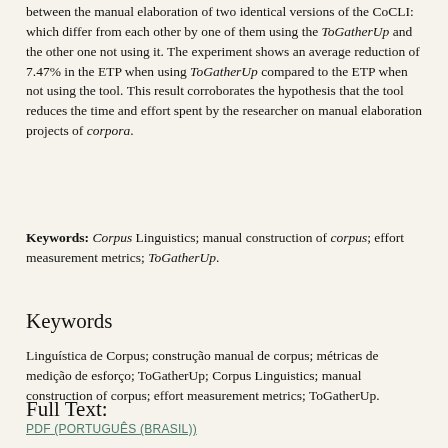between the manual elaboration of two identical versions of the CoCLI: which differ from each other by one of them using the ToGatherUp and the other one not using it. The experiment shows an average reduction of 7.47% in the ETP when using ToGatherUp compared to the ETP when not using the tool. This result corroborates the hypothesis that the tool reduces the time and effort spent by the researcher on manual elaboration projects of corpora.
Keywords: Corpus Linguistics; manual construction of corpus; effort measurement metrics; ToGatherUp.
Keywords
Linguística de Corpus; construção manual de corpus; métricas de medição de esforço; ToGatherUp; Corpus Linguistics; manual construction of corpus; effort measurement metrics; ToGatherUp.
Full Text:
PDF (PORTUGUÊS (BRASIL))
References
ALUÍSIO, S. M.; ALMEIDA, G. M. B. O